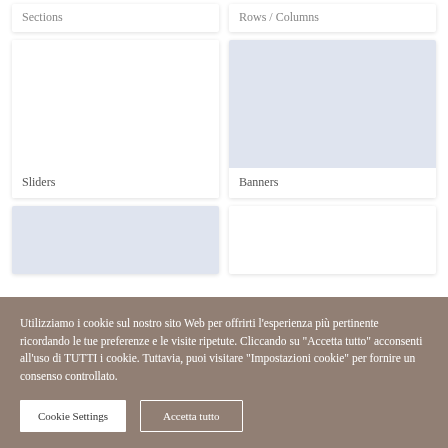Sections
Rows / Columns
[Figure (screenshot): White card with label 'Sliders']
[Figure (screenshot): Light blue/gray card with label 'Banners']
[Figure (screenshot): Light blue/gray card (partial, bottom of page)]
[Figure (screenshot): White card (partial, bottom of page)]
Utilizziamo i cookie sul nostro sito Web per offrirti l'esperienza più pertinente ricordando le tue preferenze e le visite ripetute. Cliccando su "Accetta tutto" acconsenti all'uso di TUTTI i cookie. Tuttavia, puoi visitare "Impostazioni cookie" per fornire un consenso controllato.
Cookie Settings
Accetta tutto